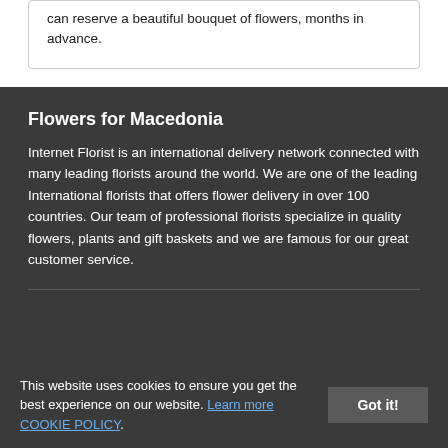can reserve a beautiful bouquet of flowers, months in advance.
Flowers for Macedonia
Internet Florist is an international delivery network connected with many leading florists around the world. We are one of the leading International florists that offers flower delivery in over 100 countries. Our team of professional florists specialize in quality flowers, plants and gift baskets and we are famous for our great customer service.
This website uses cookies to ensure you get the best experience on our website. Learn more COOKIE POLICY.